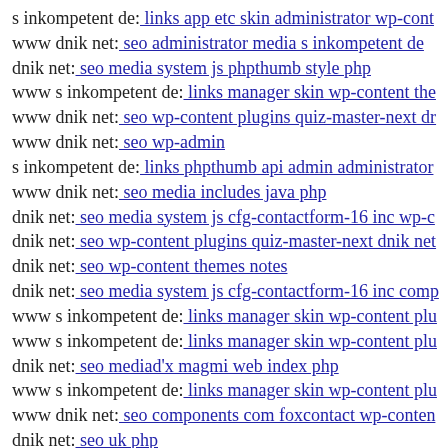s inkompetent de: links app etc skin administrator wp-cont
www dnik net: seo administrator media s inkompetent de
dnik net: seo media system js phpthumb style php
www s inkompetent de: links manager skin wp-content the
www dnik net: seo wp-content plugins quiz-master-next dr
www dnik net: seo wp-admin
s inkompetent de: links phpthumb api admin administrator
www dnik net: seo media includes java php
dnik net: seo media system js cfg-contactform-16 inc wp-c
dnik net: seo wp-content plugins quiz-master-next dnik net
dnik net: seo wp-content themes notes
dnik net: seo media system js cfg-contactform-16 inc comp
www s inkompetent de: links manager skin wp-content plu
www s inkompetent de: links manager skin wp-content plu
dnik net: seo mediad'x magmi web index php
www s inkompetent de: links manager skin wp-content plu
www dnik net: seo components com foxcontact wp-conten
dnik net: seo uk php
dnik net: seo media system js components com b2jcontact
www s inkompetent de: links manager skin wp-content the